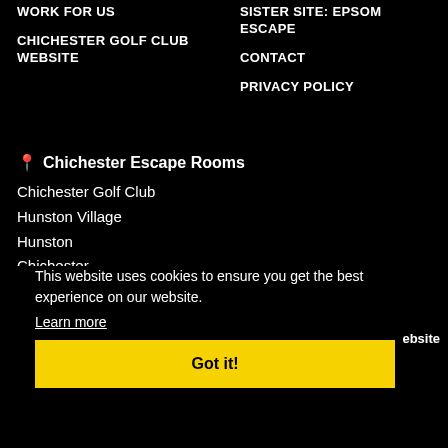WORK FOR US
CHICHESTER GOLF CLUB WEBSITE
SISTER SITE: EPSOM ESCAPE
CONTACT
PRIVACY POLICY
📍 Chichester Escape Rooms
Chichester Golf Club
Hunston Village
Hunston
Chichester
This website uses cookies to ensure you get the best experience on our website.
Learn more
Got it!
ebsite